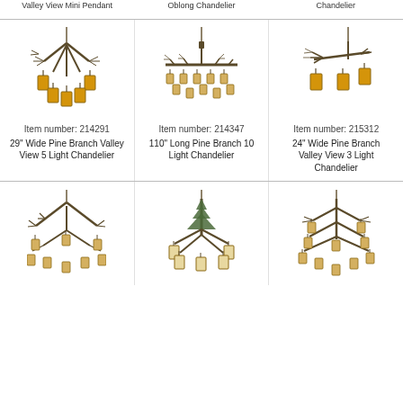Valley View Mini Pendant
Oblong Chandelier
Chandelier
[Figure (photo): Pine branch 5-light chandelier with amber lantern shades]
Item number: 214291
29" Wide Pine Branch Valley View 5 Light Chandelier
[Figure (photo): Pine branch 10-light oblong chandelier]
Item number: 214347
110" Long Pine Branch 10 Light Chandelier
[Figure (photo): Pine branch 3-light chandelier with amber lantern shades]
Item number: 215312
24" Wide Pine Branch Valley View 3 Light Chandelier
[Figure (photo): Pine branch multi-light chandelier with small lanterns]
[Figure (photo): Pine tree chandelier with multiple lanterns]
[Figure (photo): Large pine branch chandelier with many lanterns]